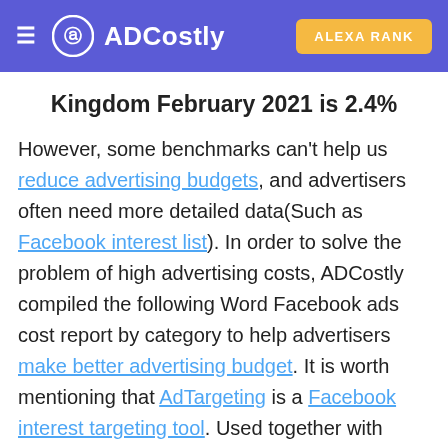ADCostly | ALEXA RANK
Kingdom February 2021 is 2.4%
However, some benchmarks can't help us reduce advertising budgets, and advertisers often need more detailed data(Such as Facebook interest list). In order to solve the problem of high advertising costs, ADCostly compiled the following Word Facebook ads cost report by category to help advertisers make better advertising budget. It is worth mentioning that AdTargeting is a Facebook interest targeting tool. Used together with